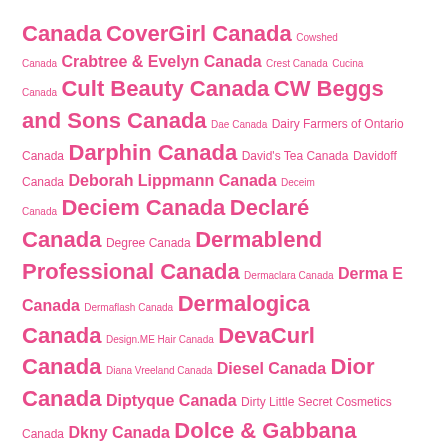Canada CoverGirl Canada Cowshed Canada Crabtree & Evelyn Canada Crest Canada Cucina Canada Cult Beauty Canada CW Beggs and Sons Canada Dae Canada Dairy Farmers of Ontario Canada Darphin Canada David's Tea Canada Davidoff Canada Deborah Lippmann Canada Deceim Canada Deciem Canada Declaré Canada Degree Canada Dermablend Professional Canada Dermaclara Canada Derma E Canada Dermaflash Canada Dermalogica Canada Design.ME Hair Canada DevaCurl Canada Diana Vreeland Canada Diesel Canada Dior Canada Diptyque Canada Dirty Little Secret Cosmetics Canada Dkny Canada Dolce & Gabbana Canada Dominique Cosmetics Canada Donna Karan Canada Dorco Canada Dose of Colors Canada Doucce Cosmetics Canada Dove Canada Downy Canada DPHue Canada Dr. Barbara Sturm Canada Dr. Belmeur Canada Dr. Brandt Skincare Canada Dr. Dennis Gross Skincare Dr. Hauschka Canada Dr. Jart Canada Dr. Oetker Canada Dragun Beauty Canada Drakkar Canada Drink Well Canada Dr